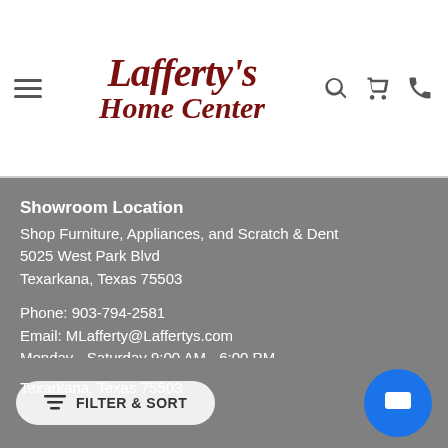[Figure (logo): Lafferty's Home Center logo with hamburger menu, search, cart, and phone icons]
Showroom Location
Shop Furniture, Appliances, and Scratch & Dent
5025 West Park Blvd
Texarkana, Texas 75503
Phone: 903-794-2581
Email: MLafferty@Laffertys.com
Monday - Saturday 9:00 AM - 6:00 PM
Parts, Service, & Pick-Up Location
Service Your Appliance, Pick-Up Showroom Orders and Parts
Texarkana, Texas 75503